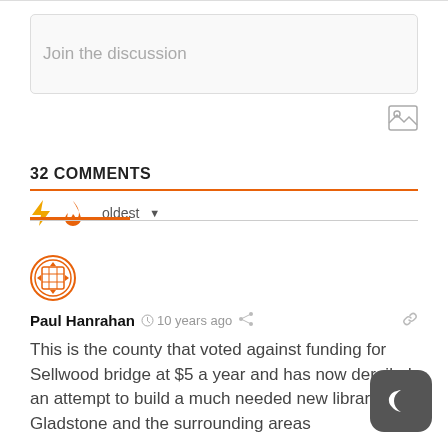Join the discussion
32 COMMENTS
oldest
Paul Hanrahan · 10 years ago
This is the county that voted against funding for Sellwood bridge at $5 a year and has now derailed an attempt to build a much needed new library for Gladstone and the surrounding areas